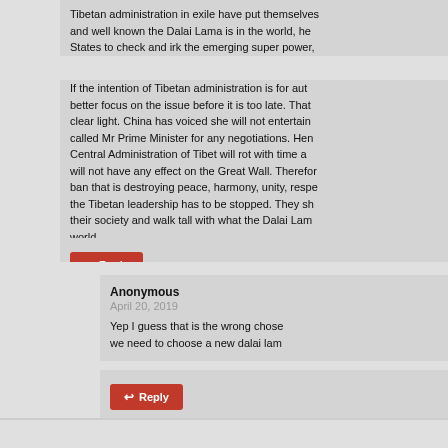Tibetan administration in exile have put themselves and well known the Dalai Lama is in the world, he States to check and irk the emerging super power,
If the intention of Tibetan administration is for aut better focus on the issue before it is too late. That clear light. China has voiced she will not entertain called Mr Prime Minister for any negotiations. Hen Central Administration of Tibet will rot with time a will not have any effect on the Great Wall. Therefor ban that is destroying peace, harmony, unity, respe the Tibetan leadership has to be stopped. They sh their society and walk tall with what the Dalai Lam world.
Reply
Anonymous
April 20, 2019
Yep I guess that is the wrong chose we need to choose a new dalai lam
Reply